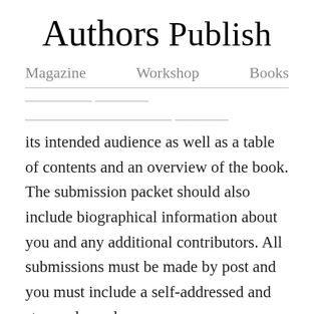Authors Publish
Magazine   Workshop   Books
...detailed cover letter outlining the book and its intended audience as well as a table of contents and an overview of the book. The submission packet should also include biographical information about you and any additional contributors. All submissions must be made by post and you must include a self-addressed and stamped envelope.
To learn more or to submit, visit their